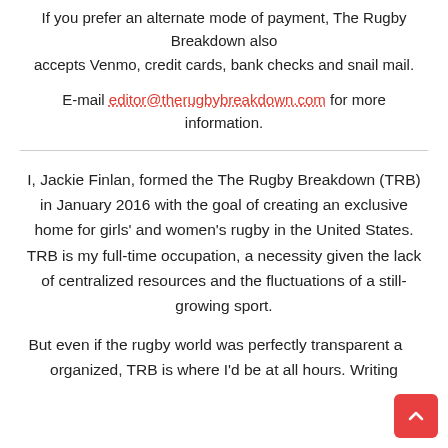If you prefer an alternate mode of payment, The Rugby Breakdown also accepts Venmo, credit cards, bank checks and snail mail.
E-mail editor@therugbybreakdown.com for more information.
I, Jackie Finlan, formed the The Rugby Breakdown (TRB) in January 2016 with the goal of creating an exclusive home for girls' and women's rugby in the United States. TRB is my full-time occupation, a necessity given the lack of centralized resources and the fluctuations of a still-growing sport.
But even if the rugby world was perfectly transparent and organized, TRB is where I'd be at all hours. Writing